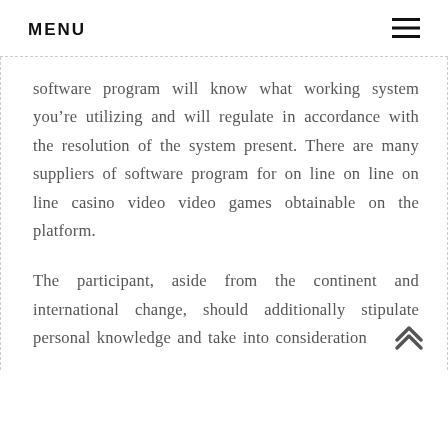MENU
software program will know what working system you’re utilizing and will regulate in accordance with the resolution of the system present. There are many suppliers of software program for on line on line on line casino video video games obtainable on the platform.
The participant, aside from the continent and international change, should additionally stipulate personal knowledge and take into consideration